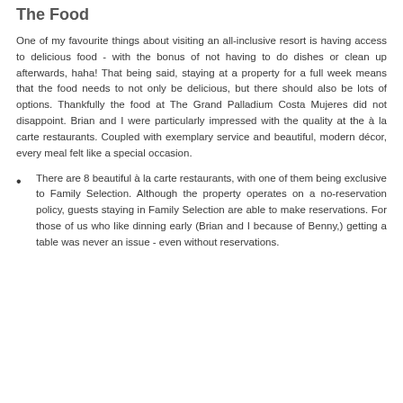The Food
One of my favourite things about visiting an all-inclusive resort is having access to delicious food - with the bonus of not having to do dishes or clean up afterwards, haha! That being said, staying at a property for a full week means that the food needs to not only be delicious, but there should also be lots of options. Thankfully the food at The Grand Palladium Costa Mujeres did not disappoint. Brian and I were particularly impressed with the quality at the à la carte restaurants. Coupled with exemplary service and beautiful, modern décor, every meal felt like a special occasion.
There are 8 beautiful à la carte restaurants, with one of them being exclusive to Family Selection. Although the property operates on a no-reservation policy, guests staying in Family Selection are able to make reservations. For those of us who like dinning early (Brian and I because of Benny,) getting a table was never an issue - even without reservations.